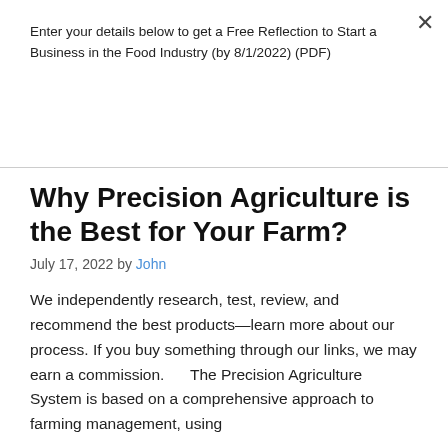Enter your details below to get a Free Reflection to Start a Business in the Food Industry (by 8/1/2022) (PDF)
Subscribe
Why Precision Agriculture is the Best for Your Farm?
July 17, 2022 by John
We independently research, test, review, and recommend the best products—learn more about our process. If you buy something through our links, we may earn a commission.      The Precision Agriculture System is based on a comprehensive approach to farming management, using